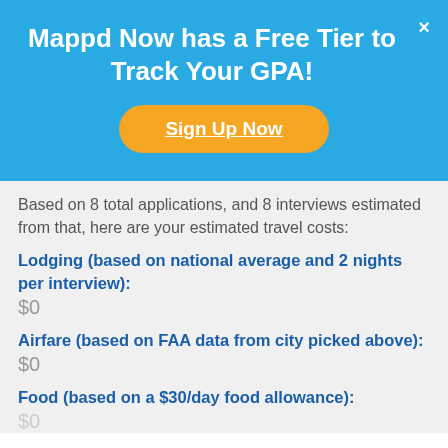Mappd Now has a Free Tier to Track Your GPA!
Sign Up Now
Based on 8 total applications, and 8 interviews estimated from that, here are your estimated travel costs:
Lodging (based on national average and 2 nights per interview):
$0
Airfare (based on FAA data from city picked above):
$0
Food (based on a $30/day food allowance):
$0